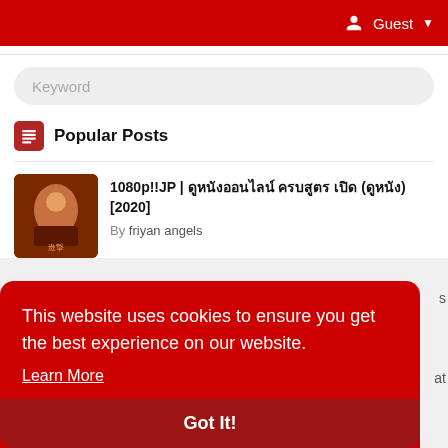Guest
Keyword
Popular Posts
1080p!!JP | ดูหนังออนไลน์ ครบสูตร เปิด (2020)
By friyan angels
This website uses cookies to ensure you get the best experience on our website.
Learn More
Got It!
By tipefah